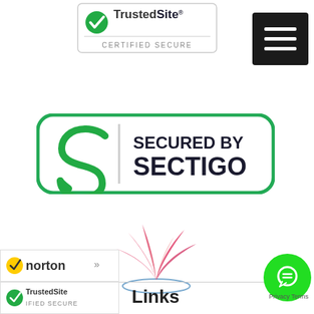[Figure (logo): TrustedSite Certified Secure badge with green checkmark]
[Figure (logo): Hamburger menu icon (three horizontal white lines on black background)]
[Figure (logo): Secured by Sectigo badge with green S logo and dark blue text on white background with green rounded border]
[Figure (logo): Pink/red flower or leaf burst logo with blue oval shadow beneath]
[Figure (logo): Norton security badge with checkmark]
[Figure (logo): TrustedSite Certified Secure small badge]
[Figure (logo): Green circle chat bubble icon]
Links
Privacy Terms